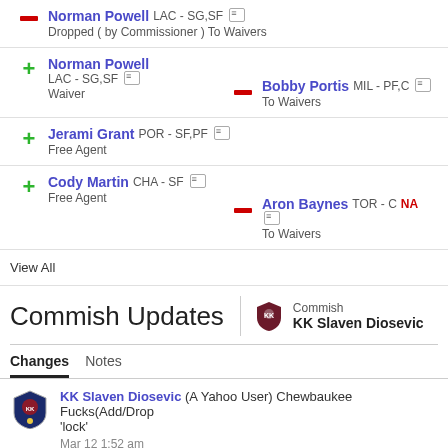Norman Powell LAC - SG,SF Dropped ( by Commissioner ) To Waivers
Norman Powell LAC - SG,SF Waiver / Bobby Portis MIL - PF,C To Waivers
Jerami Grant POR - SF,PF Free Agent
Cody Martin CHA - SF Free Agent / Aron Baynes TOR - C NA To Waivers
View All
Commish Updates
Commish KK Slaven Diosevic
Changes Notes
KK Slaven Diosevic (A Yahoo User) Chewbaukee Fucks(Add/Drop 'lock' Mar 12 1:52 am